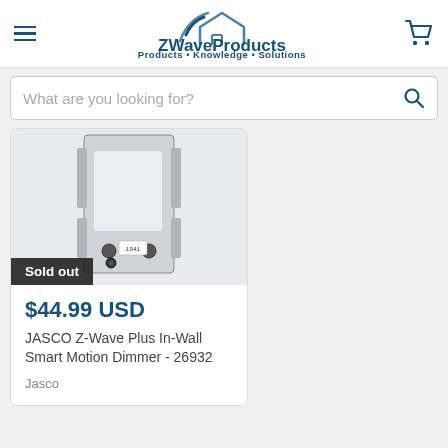ZWaveProducts — Products · Knowledge · Solutions
What are you looking for?
[Figure (photo): Product photo of JASCO Z-Wave Plus In-Wall Smart Motion Dimmer device, showing the back of the unit with wiring terminals and a label showing '1041'. A 'Sold out' badge overlays the bottom-left of the image.]
$44.99 USD
JASCO Z-Wave Plus In-Wall Smart Motion Dimmer - 26932
Jasco